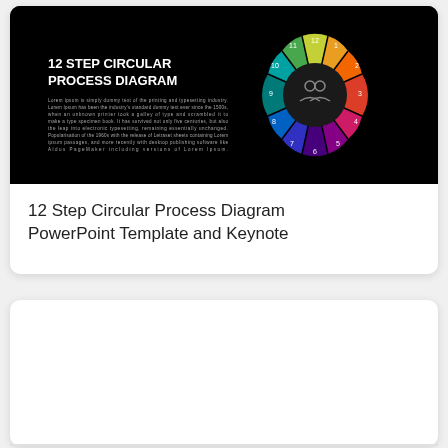[Figure (infographic): 12 Step Circular Process Diagram on black background with colorful radial segments and icons]
12 Step Circular Process Diagram PowerPoint Template and Keynote
[Figure (other): Empty white card placeholder]